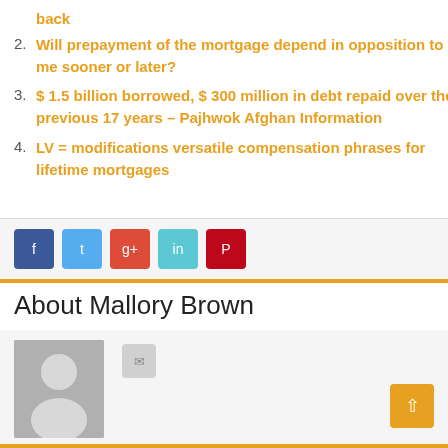back
2. Will prepayment of the mortgage depend in opposition to me sooner or later?
3. $ 1.5 billion borrowed, $ 300 million in debt repaid over the previous 17 years – Pajhwok Afghan Information
4. LV = modifications versatile compensation phrases for lifetime mortgages
[Figure (other): Social share buttons: Facebook, Twitter, Google+, LinkedIn, Pinterest]
About Mallory Brown
[Figure (photo): Default avatar/profile picture placeholder (gray silhouette) with a small share button beside it]